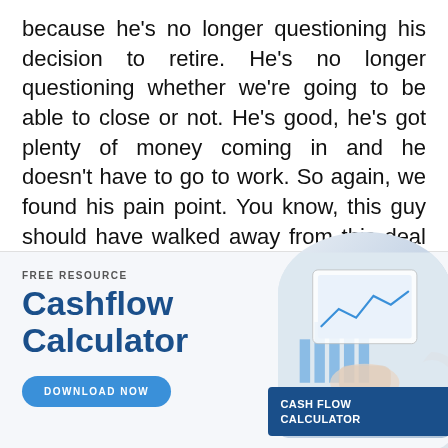because he's no longer questioning his decision to retire. He's no longer questioning whether we're going to be able to close or not. He's good, he's got plenty of money coming in and he doesn't have to go to work. So again, we found his pain point. You know, this guy should have walked away from this deal several times, but stood with it each time. We just found a pain point, we were open with communication,
[Figure (infographic): Advertisement banner for a free Cashflow Calculator resource. Left side shows 'FREE RESOURCE' label, 'Cashflow Calculator' title in bold blue text, and a 'DOWNLOAD NOW' button. Right side shows a photo of hands using a tablet with financial charts, and a dark blue card overlay reading 'CASH FLOW CALCULATOR'. A close X button and blue dot appear in the top-right corner.]